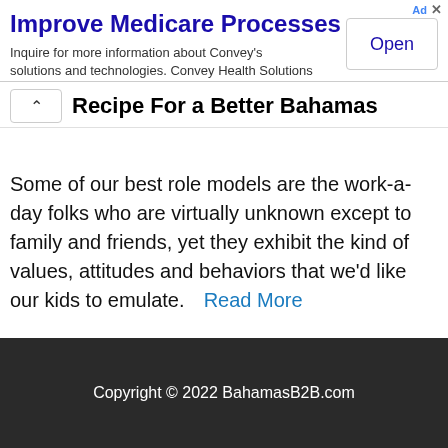[Figure (other): Advertisement banner: 'Improve Medicare Processes' with subtitle 'Inquire for more information about Convey's solutions and technologies. Convey Health Solutions' and an 'Open' button on the right.]
Recipe For a Better Bahamas
Some of our best role models are the work-a-day folks who are virtually unknown except to family and friends, yet they exhibit the kind of values, attitudes and behaviors that we'd like our kids to emulate.  Read More
Copyright © 2022 BahamasB2B.com